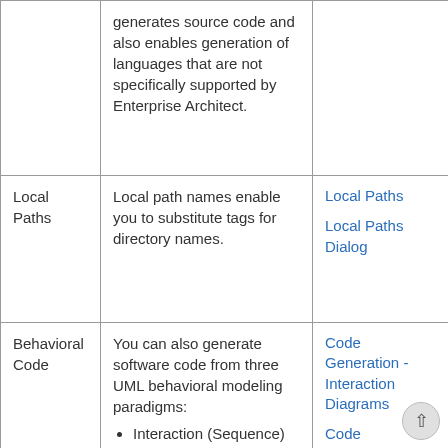|  |  |  |
| --- | --- | --- |
|  | generates source code and also enables generation of languages that are not specifically supported by Enterprise Architect. |  |
| Local Paths | Local path names enable you to substitute tags for directory names. | Local Paths
Local Paths Dialog |
| Behavioral Code | You can also generate software code from three UML behavioral modeling paradigms:
• Interaction (Sequence) | Code Generation - Interaction Diagrams
Code Generation - Activity Diagrams |